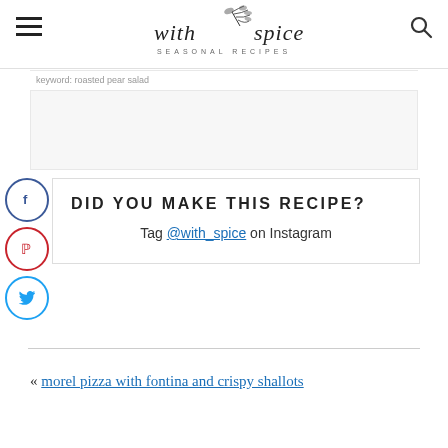[Figure (logo): With Spice – Seasonal Recipes logo with botanical illustration]
keyword: roasted pear salad
DID YOU MAKE THIS RECIPE?
Tag @with_spice on Instagram
« morel pizza with fontina and crispy shallots